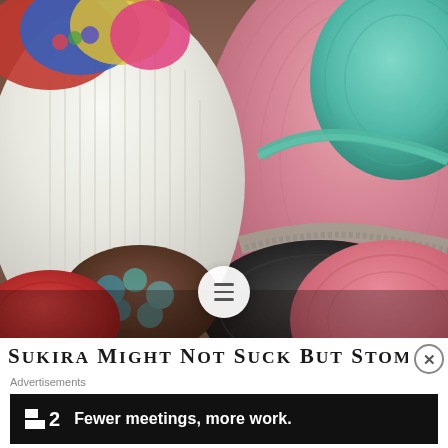[Figure (photo): Close-up photograph of multiple colorful crocheted hats/beanies piled together. Colors include white/cream, pink, teal/mint, black, salmon/coral, gray, brown, red, and multicolored. Various crochet stitch patterns are visible.]
SUKIRA MIGHT NOT SUCK BUT STOMACH
Advertisements
P2  Fewer meetings, more work.